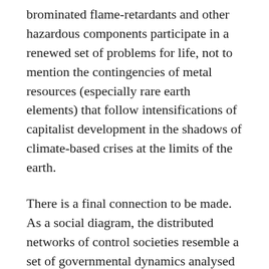brominated flame-retardants and other hazardous components participate in a renewed set of problems for life, not to mention the contingencies of metal resources (especially rare earth elements) that follow intensifications of capitalist development in the shadows of climate-based crises at the limits of the earth.
There is a final connection to be made. As a social diagram, the distributed networks of control societies resemble a set of governmental dynamics analysed in later work by Foucault (2007; 2008). Indeed, the work outlined in his lecture series at the Collège de France during the late 1970's presents a significant challenge to the anti-discipline of de Certeau in a number of ways. While ostensibly aimed at mapping a genealogy of the